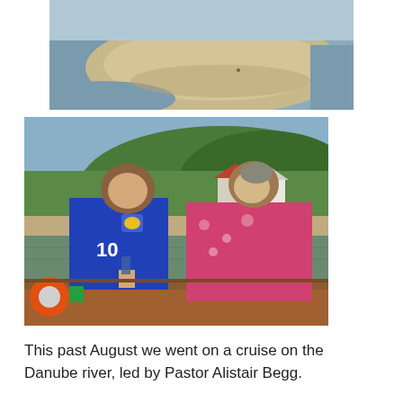[Figure (photo): Aerial or elevated view of a sandy riverbank/sandbar with greenish-brown water on both sides, taken on a sunny day.]
[Figure (photo): Two people standing on the deck of a river cruise ship. A man in a blue jersey with number 10 and a woman in a pink floral dress. Green forested hills, red-roofed buildings, and a sandy riverbank visible in the background.]
This past August we went on a cruise on the Danube river, led by Pastor Alistair Begg.